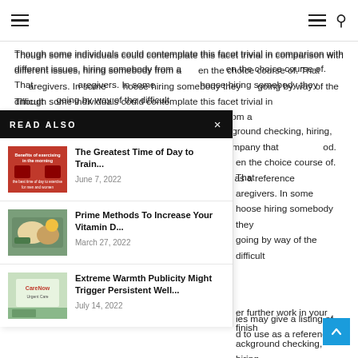Navigation header with hamburger menus and search icon
Though some individuals could contemplate this facet trivial in comparison with different issues, hiring somebody from a [panel obscures] en the choice course of. That [panel obscures] aregivers. In some [panel obscures] hoose hiring somebody they [panel obscures] going by way of the difficult [panel obscures] er further work in your finish [panel obscures] ackground checking, hiring, [panel obscures] With this, you may [panel obscures] ouse care company that [panel obscures] od. [panel obscures] ies may give a listing of [panel obscures] d to use as a reference
READ ALSO
[Figure (photo): Red promotional image with text 'Benefits of exercising in the morning' and subtitle about best time of day to exercise for men and women]
The Greatest Time of Day to Train...
June 7, 2022
[Figure (photo): Photo of a healthy meal with vegetables and food items on a plate]
Prime Methods To Increase Your Vitamin D...
March 27, 2022
[Figure (photo): Photo of CareNow Urgent Care clinic building exterior]
Extreme Warmth Publicity Might Trigger Persistent Well...
July 14, 2022